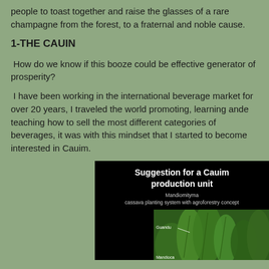people to toast together and raise the glasses of a rare champagne from the forest, to a fraternal and noble cause.
1-THE CAUIN
How do we know if this booze could be effective generator of prosperity?
I have been working in the international beverage market for over 20 years, I traveled the world promoting, learning ande teaching how to sell the most different categories of beverages, it was with this mindset that I started to become interested in Cauim.
[Figure (infographic): Black slide image showing 'Suggestion for a Cauim production unit' with subtitle 'Mandiomityma cassava planting system with agroforestry concept' and a photo of green plants labeled Guandu and Mandioca]